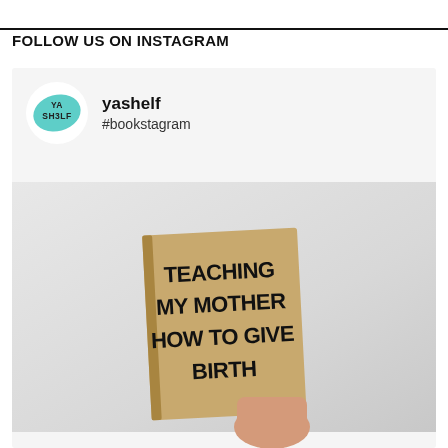FOLLOW US ON INSTAGRAM
[Figure (screenshot): Instagram post from user 'yashelf' with hashtag #bookstagram showing a hand holding a paperback book with kraft cover titled 'TEACHING MY MOTHER HOW TO GIVE BIRTH' in bold black text on a light grey background.]